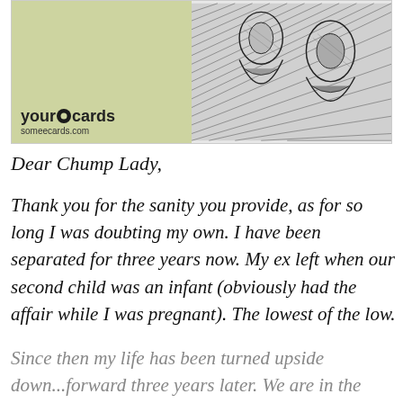[Figure (illustration): Someecards / your e-cards logo on olive green background (left), and a black and white sketch illustration of figures (right)]
Dear Chump Lady,
Thank you for the sanity you provide, as for so long I was doubting my own. I have been separated for three years now. My ex left when our second child was an infant (obviously had the affair while I was pregnant). The lowest of the low.
Since then my life has been turned upside down...forward three years later. We are in the courts having a nasty divorce. My ex is still with